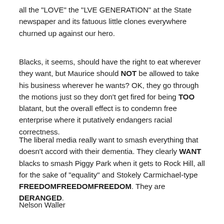all the "LOVE" the "LVE GENERATION" at the State newspaper and its fatuous little clones everywhere churned up against our hero.
Blacks, it seems, should have the right to eat wherever they want, but Maurice should NOT be allowed to take his business wherever he wants? OK, they go through the motions just so they don't get fired for being TOO blatant, but the overall effect is to condemn free enterprise where it putatively endangers racial correctness.
The liberal media really want to smash everything that doesn't accord with their dementia. They clearly WANT blacks to smash Piggy Park when it gets to Rock Hill, all for the sake of "equality" and Stokely Carmichael-type FREEDOMFREEDOMFREEDOM. They are DERANGED.
Nelson Waller